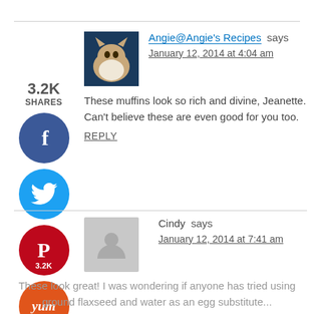[Figure (photo): Cat photo avatar for Angie@Angie's Recipes commenter]
Angie@Angie's Recipes says
January 12, 2014 at 4:04 am
These muffins look so rich and divine, Jeanette. Can't believe these are even good for you too.
REPLY
[Figure (illustration): Gray placeholder avatar for Cindy commenter]
Cindy says
January 12, 2014 at 7:41 am
These look great! I was wondering if anyone has tried using ground flaxseed and water as an egg substitute...